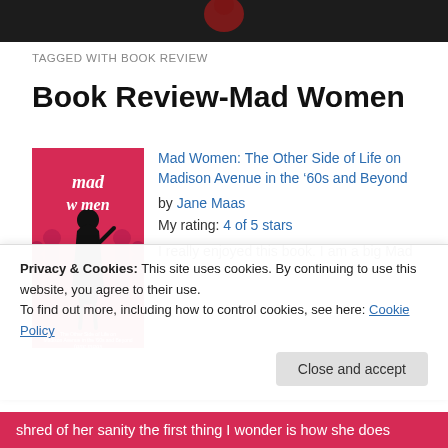[Figure (photo): Dark header image with a reddish figure silhouette centered at top]
TAGGED WITH BOOK REVIEW
Book Review-Mad Women
[Figure (illustration): Book cover of 'Mad Women' – hot pink/red background with a stylized woman in black dress and silhouettes of men, text reads 'mad women', subtitle and author 'jane maas']
Mad Women: The Other Side of Life on Madison Avenue in the '60s and Beyond by Jane Maas
My rating: 4 of 5 stars
I really enjoyed this book. I am a big Mad
Privacy & Cookies: This site uses cookies. By continuing to use this website, you agree to their use.
To find out more, including how to control cookies, see here: Cookie Policy
shred of her sanity the first thing I wonder is how she does